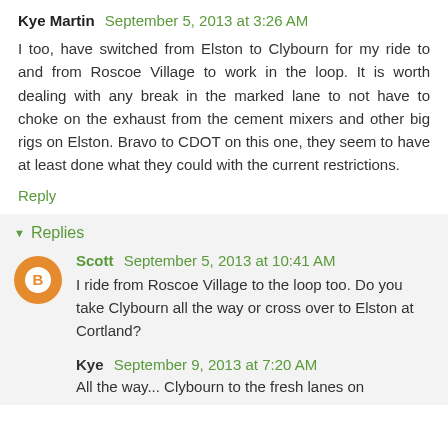Kye Martin  September 5, 2013 at 3:26 AM
I too, have switched from Elston to Clybourn for my ride to and from Roscoe Village to work in the loop. It is worth dealing with any break in the marked lane to not have to choke on the exhaust from the cement mixers and other big rigs on Elston. Bravo to CDOT on this one, they seem to have at least done what they could with the current restrictions.
Reply
Replies
Scott  September 5, 2013 at 10:41 AM
I ride from Roscoe Village to the loop too. Do you take Clybourn all the way or cross over to Elston at Cortland?
Kye  September 9, 2013 at 7:20 AM
All the way... Clybourn to the fresh lanes on